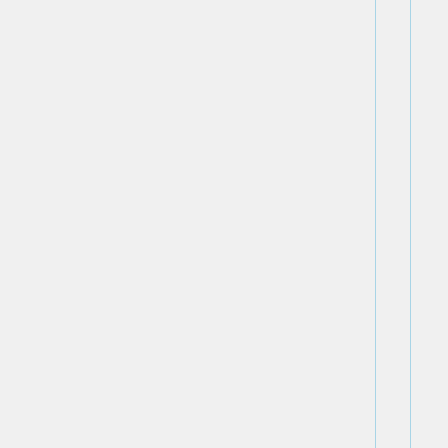set in filter.

default - select the nexthop as described in RFC 4271

force-sel - always use local address of the interface that used to connect to the peer as the nexthop;

propagate - try to propagate further the nexthop received; i.e. the route has BGP...